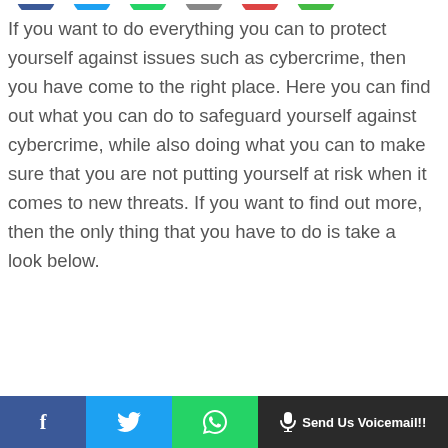[Figure (illustration): Partial view of colorful circular social media icon buttons at top of page (Facebook blue, Twitter blue, green, grey, red, green)]
If you want to do everything you can to protect yourself against issues such as cybercrime, then you have come to the right place. Here you can find out what you can do to safeguard yourself against cybercrime, while also doing what you can to make sure that you are not putting yourself at risk when it comes to new threats. If you want to find out more, then the only thing that you have to do is take a look below.
[Figure (illustration): Footer bar with social sharing buttons: Facebook (blue), Twitter (blue), WhatsApp (green), and a dark 'Send Us Voicemail!!' button with microphone icon]